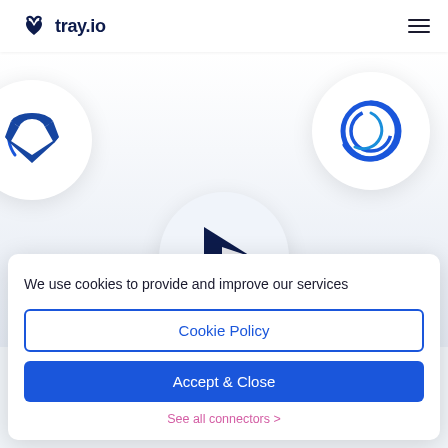[Figure (logo): tray.io logo with infinity-style icon and wordmark 'tray.io' in dark navy]
[Figure (illustration): Three connector service icon circles: a dark blue bird/arrow logo (Kustomer or similar), a blue Calendly-style C logo, and a dark blue play-button triangle logo (Amazon or similar), arranged on a light gradient background]
We use cookies to provide and improve our services
Cookie Policy
Accept & Close
See all connectors >